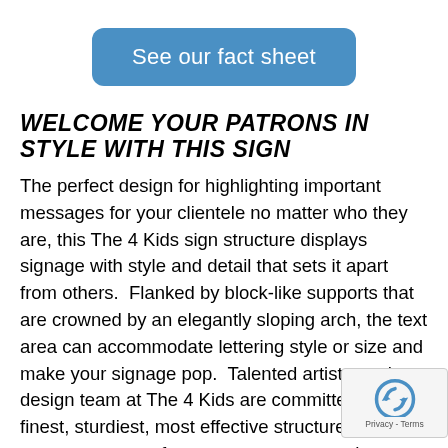[Figure (other): Blue rounded rectangle button labeled 'See our fact sheet']
WELCOME YOUR PATRONS IN STYLE WITH THIS SIGN
The perfect design for highlighting important messages for your clientele no matter who they are, this The 4 Kids sign structure displays signage with style and detail that sets it apart from others.  Flanked by block-like supports that are crowned by an elegantly sloping arch, the text area can accommodate lettering style or size and make your signage pop.  Talented artists on the design team at The 4 Kids are committed to the finest, sturdiest, most effective structures for every venue, conference centers to courthouses, medical clinics to military installations, theme parks to ball parks and everything in between.  Besides good looks and magnificent design, The 4 Kids' sign structures are a study in durability. Crafted with glass fiber reinforced concrete for unmatched strength and resilience in all weather.  These signs hold up to